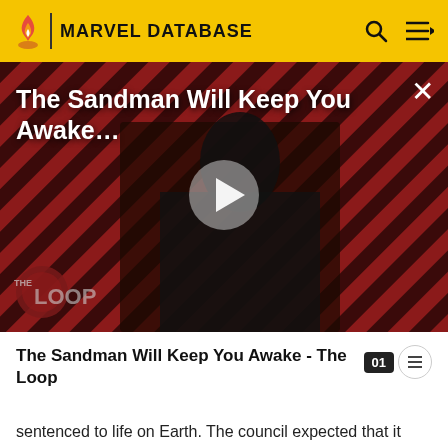MARVEL DATABASE
[Figure (screenshot): Video thumbnail showing a dark-cloaked figure (Sandman character) against a red and black diagonal striped background. A white play button triangle is centered. Text overlay reads 'The Sandman Will Keep You Awake...' with a close X button. 'THE LOOP' logo appears at bottom left.]
The Sandman Will Keep You Awake - The Loop
sentenced to life on Earth. The council expected that it would result in global unrest, chaos, and damage which would end in one of three scenarios; the destruction of